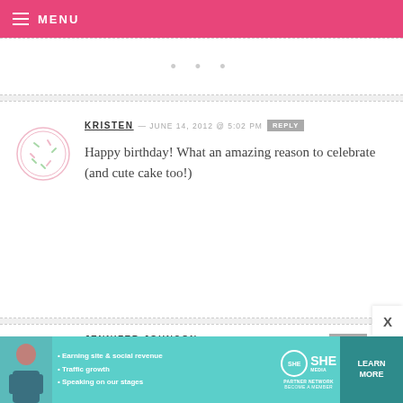MENU
...
KRISTEN — JUNE 14, 2012 @ 5:02 PM  REPLY
Happy birthday! What an amazing reason to celebrate (and cute cake too!)
JENNIFER JOHNSON — JUNE 14, 2012 @ 4:58 PM  REPLY
Happy 3rd Birthday! I adore the ruffle
[Figure (infographic): SHE Partner Network advertisement banner with photo, bullet points about earning site & social revenue, traffic growth, speaking on our stages, and a Learn More button]